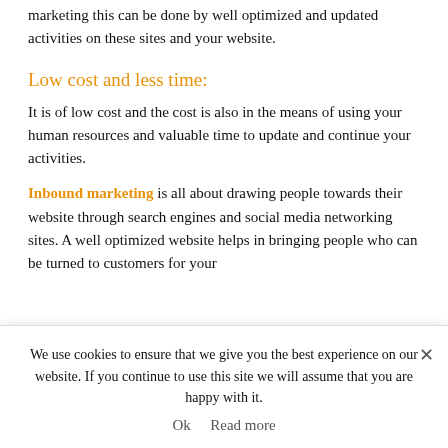marketing this can be done by well optimized and updated activities on these sites and your website.
Low cost and less time:
It is of low cost and the cost is also in the means of using your human resources and valuable time to update and continue your activities.
Inbound marketing is all about drawing people towards their website through search engines and social media networking sites. A well optimized website helps in bringing people who can be turned to customers for your
We use cookies to ensure that we give you the best experience on our website. If you continue to use this site we will assume that you are happy with it. Ok Read more